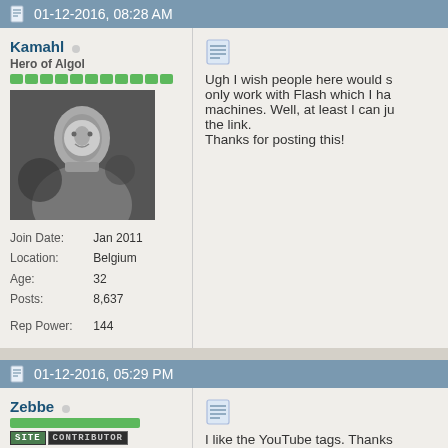01-12-2016, 08:28 AM
Kamahl
Hero of Algol
Join Date: Jan 2011
Location: Belgium
Age: 32
Posts: 8,637
Rep Power: 144
Ugh I wish people here would s... only work with Flash which I ha... machines. Well, at least I can ju... the link.
Thanks for posting this!
01-12-2016, 05:29 PM
Zebbe
I like the YouTube tags. Thanks... videos without opening a new ta...